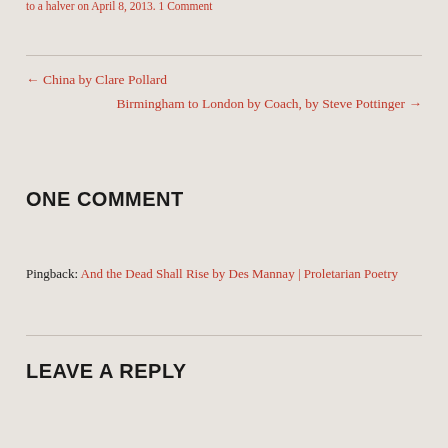to a halver on April 8, 2013. 1 Comment
← China by Clare Pollard
Birmingham to London by Coach, by Steve Pottinger →
ONE COMMENT
Pingback: And the Dead Shall Rise by Des Mannay | Proletarian Poetry
LEAVE A REPLY